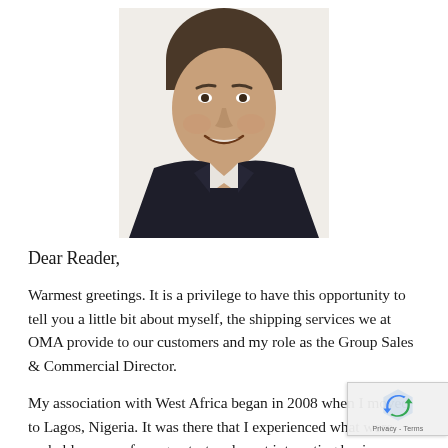[Figure (photo): Headshot of a middle-aged man with dark hair, smiling, wearing a dark suit jacket and light collared shirt, photographed against a white background.]
Dear Reader,
Warmest greetings. It is a privilege to have this opportunity to tell you a little bit about myself, the shipping services we at OMA provide to our customers and my role as the Group Sales & Commercial Director.
My association with West Africa began in 2008 when I moved to Lagos, Nigeria. It was there that I experienced what were probably some of my greatest and most interesting business challenges, managing companies involved in